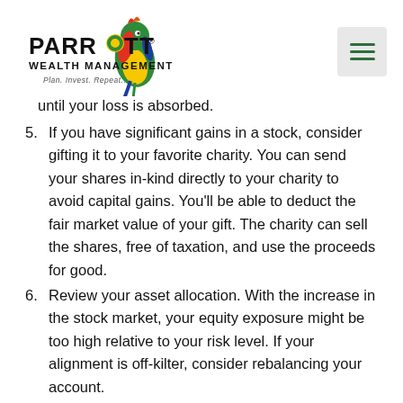[Figure (logo): Parrott Wealth Management logo with colorful parrot bird illustration, text 'PARROTT WEALTH MANAGEMENT' and tagline 'Plan. Invest. Repeat.']
until your loss is absorbed.
5. If you have significant gains in a stock, consider gifting it to your favorite charity. You can send your shares in-kind directly to your charity to avoid capital gains. You'll be able to deduct the fair market value of your gift. The charity can sell the shares, free of taxation, and use the proceeds for good.
6. Review your asset allocation. With the increase in the stock market, your equity exposure might be too high relative to your risk level. If your alignment is off-kilter, consider rebalancing your account.
7. Sell some of your investments to pay off your debt. Debt is a four-letter word, and the less debt you owe, the better off you'll be.